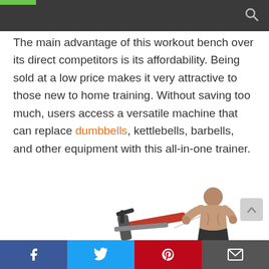The main advantage of this workout bench over its direct competitors is its affordability. Being sold at a low price makes it very attractive to those new to home training. Without saving too much, users access a versatile machine that can replace dumbbells, kettlebells, barbells, and other equipment with this all-in-one trainer.
[Figure (photo): Muscular man using a cable workout bench machine, shirtless, pulling resistance cables]
Social share buttons: Facebook, Twitter, Pinterest, Email